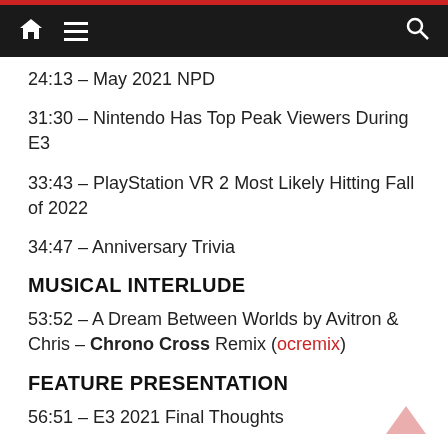Navigation header with home, menu, and search icons
24:13 – May 2021 NPD
31:30 – Nintendo Has Top Peak Viewers During E3
33:43 – PlayStation VR 2 Most Likely Hitting Fall of 2022
34:47 – Anniversary Trivia
MUSICAL INTERLUDE
53:52 – A Dream Between Worlds by Avitron & Chris – Chrono Cross Remix (ocremix)
FEATURE PRESENTATION
56:51 – E3 2021 Final Thoughts